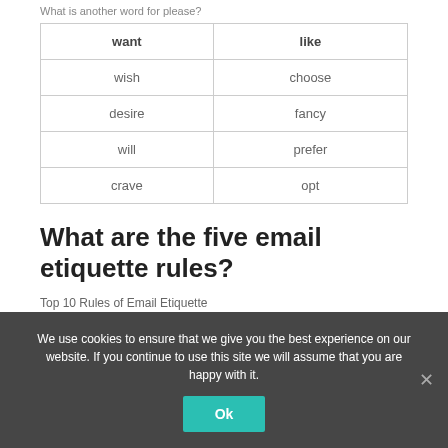What is another word for please?
| want | like |
| --- | --- |
| wish | choose |
| desire | fancy |
| will | prefer |
| crave | opt |
What are the five email etiquette rules?
Top 10 Rules of Email Etiquette
We use cookies to ensure that we give you the best experience on our website. If you continue to use this site we will assume that you are happy with it.